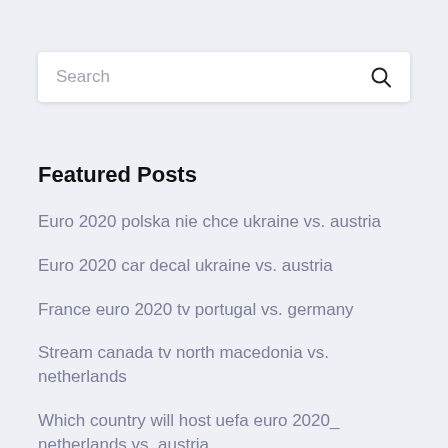[Figure (screenshot): Search bar with placeholder text 'Search' and a search icon on the right]
Featured Posts
Euro 2020 polska nie chce ukraine vs. austria
Euro 2020 car decal ukraine vs. austria
France euro 2020 tv portugal vs. germany
Stream canada tv north macedonia vs. netherlands
Which country will host uefa euro 2020_ netherlands vs. austria
Uk tv free austria vs. north macedonia